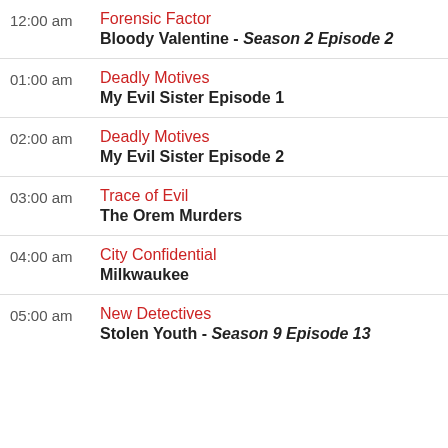12:00 am — Forensic Factor — Bloody Valentine - Season 2 Episode 2
01:00 am — Deadly Motives — My Evil Sister Episode 1
02:00 am — Deadly Motives — My Evil Sister Episode 2
03:00 am — Trace of Evil — The Orem Murders
04:00 am — City Confidential — Milkwaukee
05:00 am — New Detectives — Stolen Youth - Season 9 Episode 13